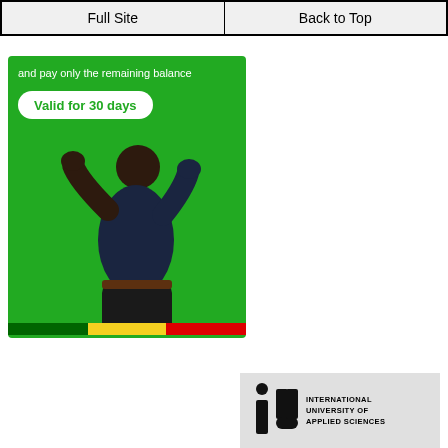Full Site | Back to Top
[Figure (photo): Green advertisement banner showing text 'and pay only the remaining balance', a 'Valid for 30 days' badge, and a man celebrating with fists raised, wearing a dark shirt, against a green background with Ethiopian flag stripe at bottom]
[Figure (logo): IU International University of Applied Sciences logo on grey background]